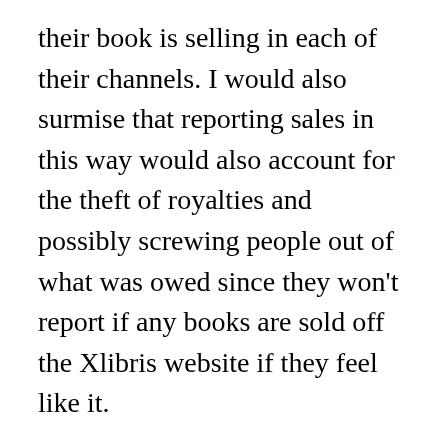their book is selling in each of their channels. I would also surmise that reporting sales in this way would also account for the theft of royalties and possibly screwing people out of what was owed since they won't report if any books are sold off the Xlibris website if they feel like it.
So with that being said, the only way I knew one of the books was sold on Amazon was through Amazon's sales reporting. The other, well, I'll never know, but if I had to guess it would probably be through Barnes and Noble.
Furthermore they don't issue checks until the amount to $30 threshold has been...